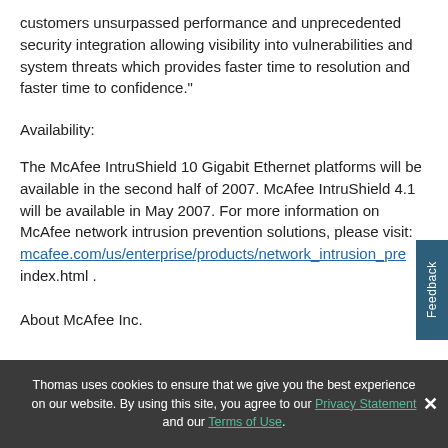customers unsurpassed performance and unprecedented security integration allowing visibility into vulnerabilities and system threats which provides faster time to resolution and faster time to confidence."
Availability:
The McAfee IntruShield 10 Gigabit Ethernet platforms will be available in the second half of 2007. McAfee IntruShield 4.1 will be available in May 2007. For more information on McAfee network intrusion prevention solutions, please visit: mcafee.com/us/enterprise/products/network_intrusion_pre index.html .
About McAfee Inc.
Thomas uses cookies to ensure that we give you the best experience on our website. By using this site, you agree to our Privacy Statement and our Terms of Use.